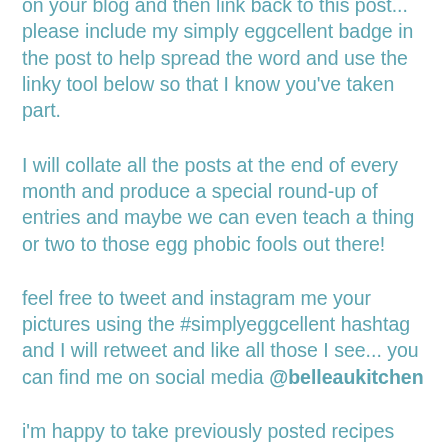on your blog and then link back to this post... please include my simply eggcellent badge in the post to help spread the word and use the linky tool below so that I know you've taken part.
I will collate all the posts at the end of every month and produce a special round-up of entries and maybe we can even teach a thing or two to those egg phobic fools out there!
feel free to tweet and instagram me your pictures using the #simplyeggcellent hashtag and I will retweet and like all those I see... you can find me on social media @belleaukitchen
i'm happy to take previously posted recipes but you'll need to go back to the post and adapt it to link back to this post and include the simply eggcellent logo